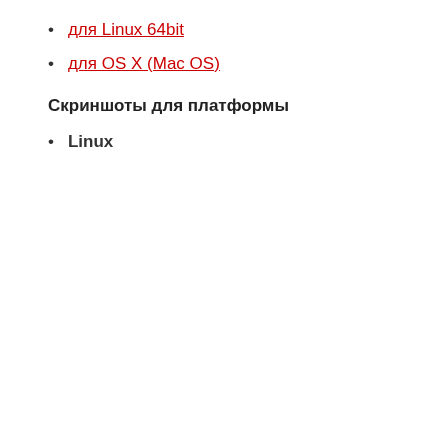для Linux 64bit
для OS X (Mac OS)
Скриншоты для платформы
Linux